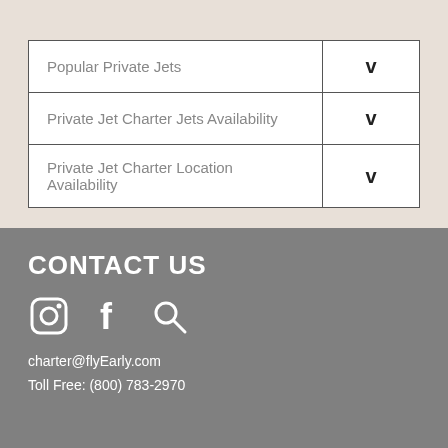|  |  |
| --- | --- |
| Popular Private Jets | v |
| Private Jet Charter Jets Availability | v |
| Private Jet Charter Location Availability | v |
CONTACT US
[Figure (other): Social media icons: Instagram camera icon, Facebook 'f' icon, Search magnifying glass icon]
charter@flyEarly.com
Toll Free: (800) 783-2970